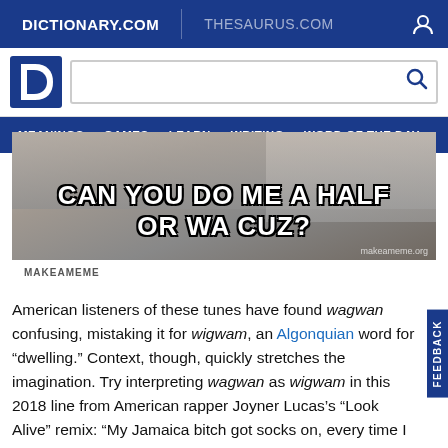DICTIONARY.COM | THESAURUS.COM
[Figure (screenshot): Dictionary.com logo and search bar with navigation menu (MEANINGS, GAMES, LEARN, WRITING, WORD OF THE DAY)]
[Figure (photo): Meme image with text: CAN YOU DO ME A HALF OR WA CUZ?]
MAKEAMEME
American listeners of these tunes have found wagwan confusing, mistaking it for wigwam, an Algonquian word for “dwelling.” Context, though, quickly stretches the imagination. Try interpreting wagwan as wigwam in this 2018 line from American rapper Joyner Lucas’s “Look Alive” remix: “My Jamaica bitch got socks on, every time I hit it she be like, ‘wagwan’.”
Can’t stop thinking about this morning when Abby Lee n I thought we were talking about the same thing but I